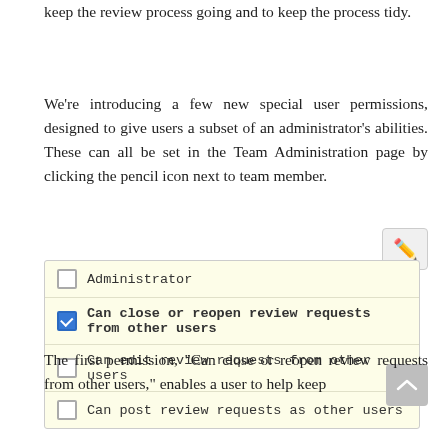keep the review process going and to keep the process tidy.
We're introducing a few new special user permissions, designed to give users a subset of an administrator's abilities. These can all be set in the Team Administration page by clicking the pencil icon next to team member.
[Figure (screenshot): A UI permissions panel with a pencil edit button and four checkboxes: Administrator (unchecked), Can close or reopen review requests from other users (checked/blue), Can edit review requests from other users (unchecked), Can post review requests as other users (unchecked).]
The first permission, “Can close or reopen review requests from other users,” enables a user to help keep